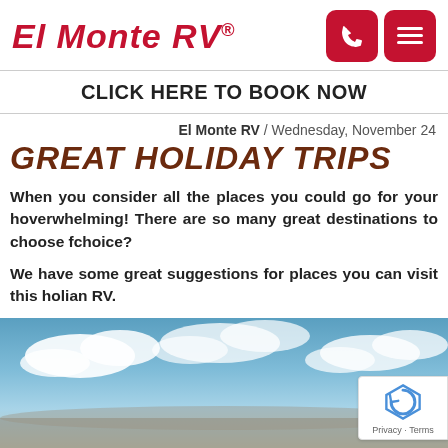El Monte RV®
CLICK HERE TO BOOK NOW
El Monte RV / Wednesday, November 24
GREAT HOLIDAY TRIPS
When you consider all the places you could go for your holiday vacation, it can be overwhelming! There are so many great destinations to choose from. How do you make your choice?
We have some great suggestions for places you can visit this holiday season when traveling in an RV.
[Figure (photo): Blue sky with white clouds photo, bottom portion visible, with reCAPTCHA badge overlay in lower right corner]